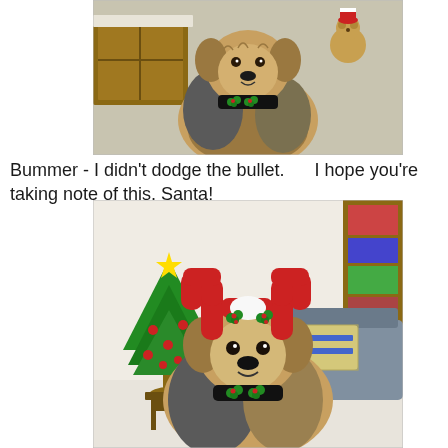[Figure (photo): A terrier dog wearing a black bandana/collar decorated with holly, sitting indoors near a wooden crate. Christmas decorations visible in background.]
Bummer -  I didn't dodge the bullet.      I hope you're taking note of this, Santa!
[Figure (photo): A golden/terrier dog wearing large red felt reindeer antlers with holly decorations, sitting in a living room with a small decorated Christmas tree visible to the left.]